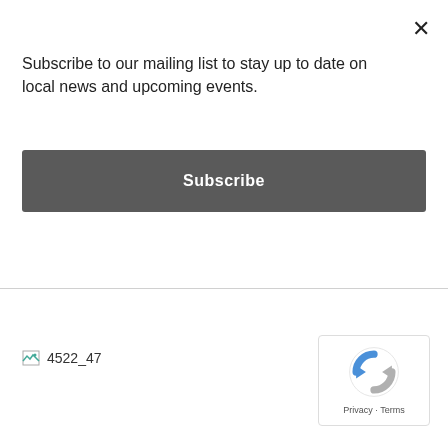×
Subscribe to our mailing list to stay up to date on local news and upcoming events.
Subscribe
[Figure (other): Broken image placeholder labeled 4522_47]
[Figure (other): Broken image placeholder labeled 4522_48]
[Figure (other): Broken image placeholder labeled 4522_49]
[Figure (other): Broken image placeholder labeled 4522_50]
[Figure (other): reCAPTCHA badge with Privacy and Terms links]